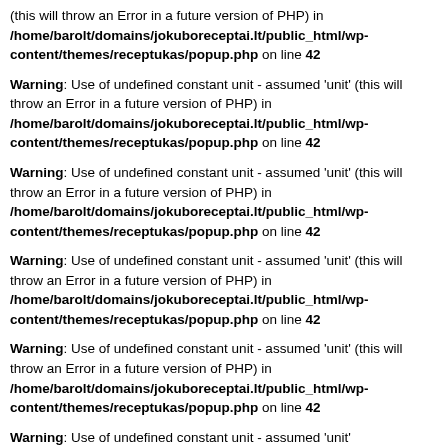(this will throw an Error in a future version of PHP) in /home/barolt/domains/jokuboreceptai.lt/public_html/wp-content/themes/receptukas/popup.php on line 42
Warning: Use of undefined constant unit - assumed 'unit' (this will throw an Error in a future version of PHP) in /home/barolt/domains/jokuboreceptai.lt/public_html/wp-content/themes/receptukas/popup.php on line 42
Warning: Use of undefined constant unit - assumed 'unit' (this will throw an Error in a future version of PHP) in /home/barolt/domains/jokuboreceptai.lt/public_html/wp-content/themes/receptukas/popup.php on line 42
Warning: Use of undefined constant unit - assumed 'unit' (this will throw an Error in a future version of PHP) in /home/barolt/domains/jokuboreceptai.lt/public_html/wp-content/themes/receptukas/popup.php on line 42
Warning: Use of undefined constant unit - assumed 'unit' (this will throw an Error in a future version of PHP) in /home/barolt/domains/jokuboreceptai.lt/public_html/wp-content/themes/receptukas/popup.php on line 42
Warning: Use of undefined constant unit - assumed 'unit' (this will throw an Error in a future version of PHP) in